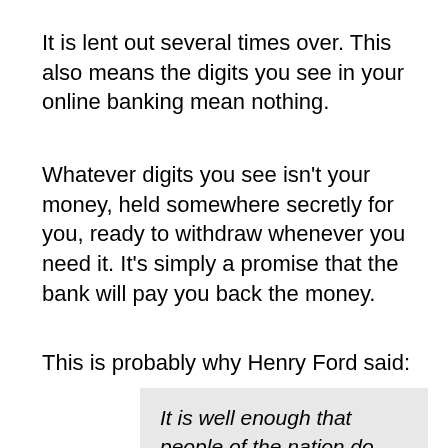It is lent out several times over. This also means the digits you see in your online banking mean nothing.
Whatever digits you see isn’t your money, held somewhere secretly for you, ready to withdraw whenever you need it. It’s simply a promise that the bank will pay you back the money.
This is probably why Henry Ford said:
It is well enough that people of the nation do not understand our banking and monetary system, for